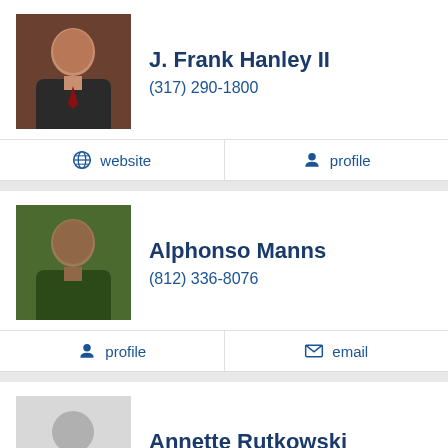[Figure (photo): Portrait photo of J. Frank Hanley II]
J. Frank Hanley II
(317) 290-1800
website   profile
[Figure (photo): Portrait photo of Alphonso Manns]
Alphonso Manns
(812) 336-8076
profile   email
[Figure (photo): Placeholder silhouette photo for Annette Rutkowski]
Annette Rutkowski
(317) 926-1111